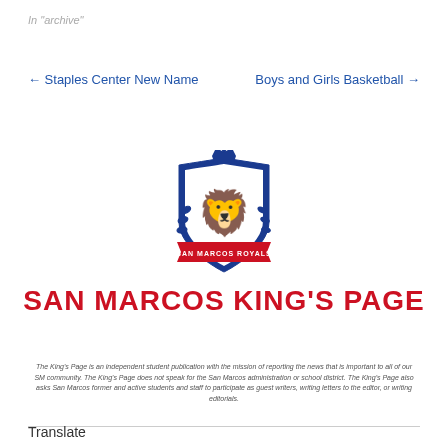In "archive"
← Staples Center New Name    Boys and Girls Basketball →
[Figure (logo): San Marcos Royals shield logo with a lion rampant, crown on top, laurel branches on sides, and a banner reading SAN MARCOS ROYALS at the bottom. Blue and red colors.]
SAN MARCOS KING'S PAGE
The King's Page is an independent student publication with the mission of reporting the news that is important to all of our SM community. The King's Page does not speak for the San Marcos administration or school district. The King's Page also asks San Marcos former and active students and staff to participate as guest writers, writing letters to the editor, or writing editorials.
Translate